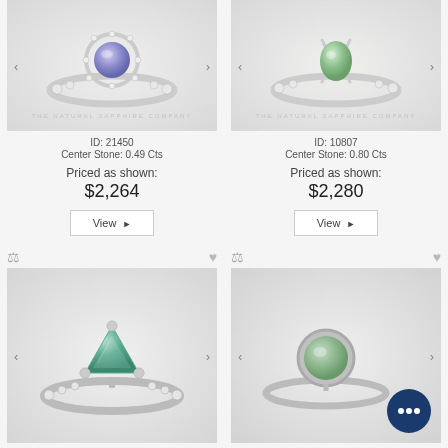[Figure (photo): Ring with light purple/blue center stone halo setting, The Natural Sapphire Company watermark]
ID: 21450
Center Stone: 0.49 Cts
Priced as shown:
$2,264
View ▶
[Figure (photo): Ring with light green center stone simple solitaire setting, The Natural Sapphire Company watermark]
ID: 10807
Center Stone: 0.80 Cts
Priced as shown:
$2,280
View ▶
[Figure (photo): Ring with teal/blue-green trillion center stone pave band setting]
[Figure (photo): Ring with light green bezel set center stone simple band, with chat bubble overlay]